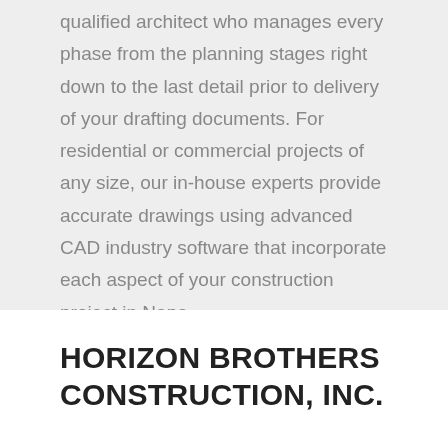qualified architect who manages every phase from the planning stages right down to the last detail prior to delivery of your drafting documents. For residential or commercial projects of any size, our in-house experts provide accurate drawings using advanced CAD industry software that incorporate each aspect of your construction project in Napa.
HORIZON BROTHERS CONSTRUCTION, INC.